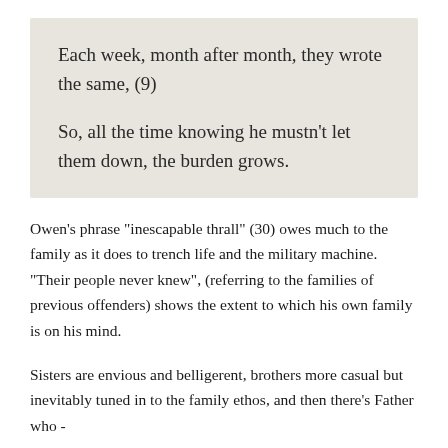Each week, month after month, they wrote the same, (9)

So, all the time knowing he mustn't let them down, the burden grows.
Owen's phrase "inescapable thrall" (30) owes much to the family as it does to trench life and the military machine. "Their people never knew", (referring to the families of previous offenders) shows the extent to which his own family is on his mind.
Sisters are envious and belligerent, brothers more casual but inevitably tuned in to the family ethos, and then there's Father who -
...